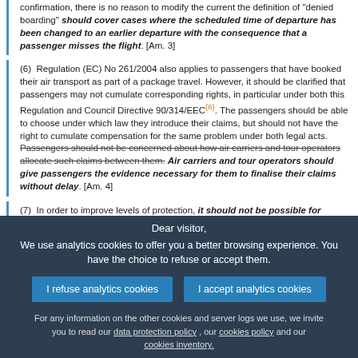confirmation, there is no reason to modify the current the definition of "denied boarding" should cover cases where the scheduled time of departure has been changed to an earlier departure with the consequence that a passenger misses the flight. [Am. 3]
(6) Regulation (EC) No 261/2004 also applies to passengers that have booked their air transport as part of a package travel. However, it should be clarified that passengers may not cumulate corresponding rights, in particular under both this Regulation and Council Directive 90/314/EEC(6). The passengers should be able to choose under which law they introduce their claims, but should not have the right to cumulate compensation for the same problem under both legal acts. [strikethrough: Passengers should not be concerned about how air carriers and tour operators allocate such claims between them.] Air carriers and tour operators should give passengers the evidence necessary for them to finalise their claims without delay. [Am. 4]
(7) In order to improve levels of protection, it should not be possible for passengers [strikethrough: should not] to be denied boarding on a section of the return journey of a two-way (return) ticket [strikethrough: because] on the grounds that they have [strikethrough: not taken the outward journey] not travelled on every leg of the journey covered by the
Dear visitor,
We use analytics cookies to offer you a better browsing experience. You have the choice to refuse or accept them.
[I refuse analytics cookies] [I accept analytics cookies]
For any information on the other cookies and server logs we use, we invite you to read our data protection policy , our cookies policy and our cookies inventory.